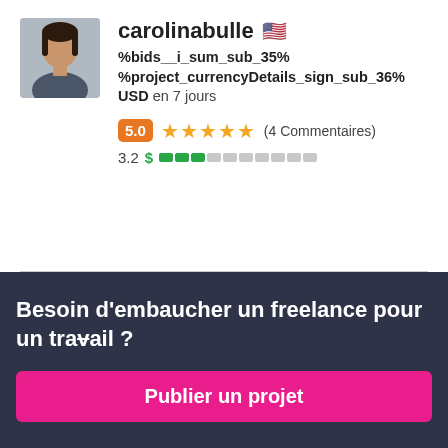carolinabulle 🇺🇸
%bids__i_sum_sub_35% %project_currencyDetails_sign_sub_36% USD en 7 jours
5.0 ★★★★★ (4 Commentaires)
3.2 $ [progress bar]
Besoin d'embaucher un freelance pour un travail ?
Publier un projet